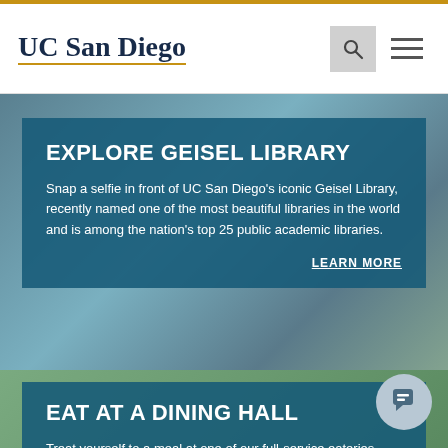UC San Diego
[Figure (photo): Aerial photo of UC San Diego campus with Geisel Library visible, overlaid with teal semi-transparent card]
EXPLORE GEISEL LIBRARY
Snap a selfie in front of UC San Diego's iconic Geisel Library, recently named one of the most beautiful libraries in the world and is among the nation's top 25 public academic libraries.
LEARN MORE
[Figure (photo): Photo of campus dining area overlaid with teal semi-transparent card]
EAT AT A DINING HALL
Treat yourself to a meal at one of our full-service eateries. Selections around campus include vegetarian, kosher and halal-friendly dining halls, as well as food to grab on the